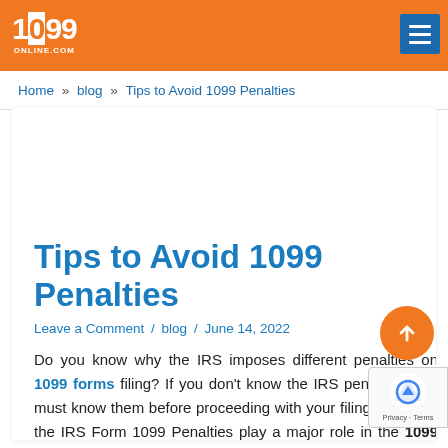1099 ONLINE.COM [logo/header bar]
Home » blog » Tips to Avoid 1099 Penalties
Tips to Avoid 1099 Penalties
Leave a Comment / blog / June 14, 2022
Do you know why the IRS imposes different penalties on 1099 forms filing? If you don't know the IRS penalties, you must know them before proceeding with your filing. Because the IRS Form 1099 Penalties play a major role in the 1099 Tax Filing. Many filers may pay high penalties compared to the tax amounts. Therefore, to not face a situation of penalties, you must be aware of tips to avoid 1099 penalties & how to avoid them?